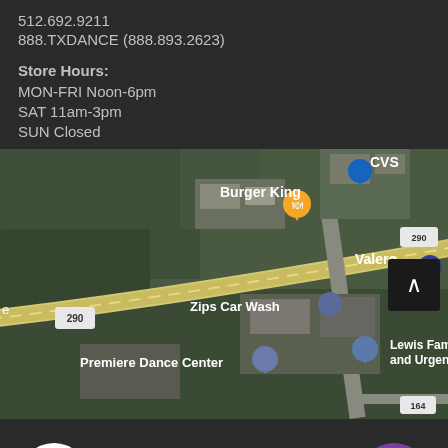512.692.9211
888.TXDANCE (888.893.2623)
Store Hours:
MON-FRI Noon-6pm
SAT 11am-3pm
SUN Closed
[Figure (map): Satellite/aerial map showing Burger King, CVS, Valero, Zips Car Wash, Premiere Dance Center, Lewis Family Medicine and Urgent Care, with roads including route 290 and Sawyer Ranch Rd and route 164]
ADD TO CART